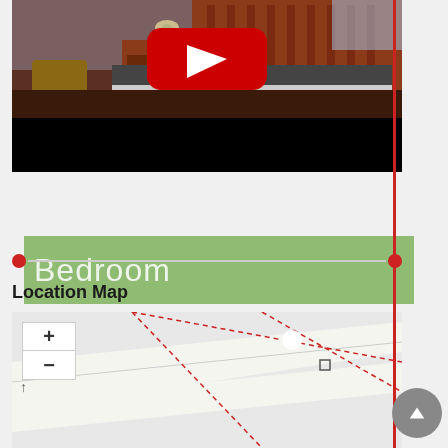[Figure (photo): Bedroom interior photo with wooden bed frame and nightstand, with YouTube play button overlay]
[Figure (screenshot): Green banner with text 'Bedroom' and a black bar below it]
[Figure (infographic): Horizontal slider with red endpoints and grey line]
Location Map
[Figure (map): Street map showing local roads with dashed red boundary lines, zoom controls (+/-), and a location marker]